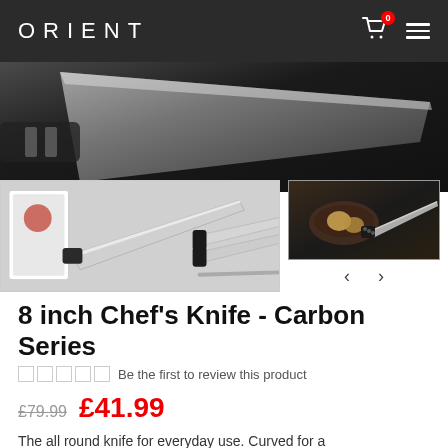ORIENT
[Figure (photo): Product photos of kitchen knives including a carbon series chef knife set against dark background, with multiple thumbnail views including knives on a dark rustic surface]
8 inch Chef's Knife - Carbon Series
Be the first to review this product
£79.99  £41.99
The all round knife for everyday use. Curved for a